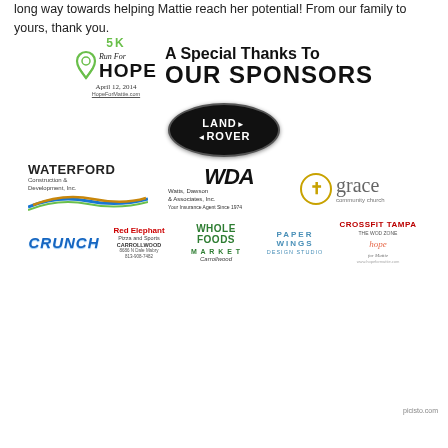long way towards helping Mattie reach her potential! From our family to yours, thank you.
[Figure (logo): 5K Run For Hope event logo with green ribbon, April 12, 2014, HopeForMattie.com, alongside 'A Special Thanks To OUR SPONSORS' heading, Land Rover oval logo, Waterford Construction & Development Inc., WDA Watts Dawson & Associates Inc., Grace Community Church, Crunch gym, Red Elephant Pizza, Whole Foods Market Carrollwood, Paper Wings Design Studio, CrossFit Tampa, Hope for Mattie logos]
picisto.com